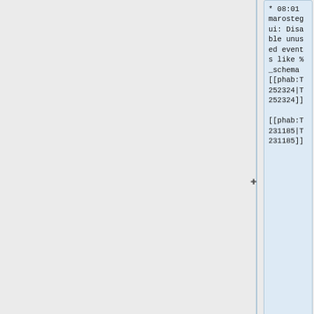* 08:01 marostegui: Disable unused events like %_schema [[phab:T252324|T252324]] [[phab:T231185|T231185]]
* 07:11 marostegui: Restart mysql on db1115 [[phab:T231185|T231185]]
* 07:11 marostegui: Truncate...